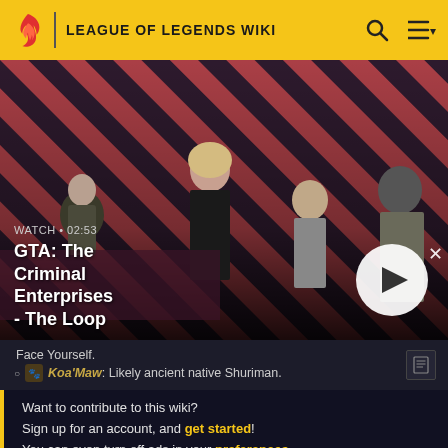LEAGUE OF LEGENDS WIKI
[Figure (screenshot): GTA: The Criminal Enterprises - The Loop video thumbnail with characters on diagonal striped background]
WATCH • 02:53
GTA: The Criminal Enterprises - The Loop
Face Yourself.
Koa'Maw: Likely ancient native Shuriman.
Want to contribute to this wiki?
Sign up for an account, and get started!
You can even turn off ads in your preferences.